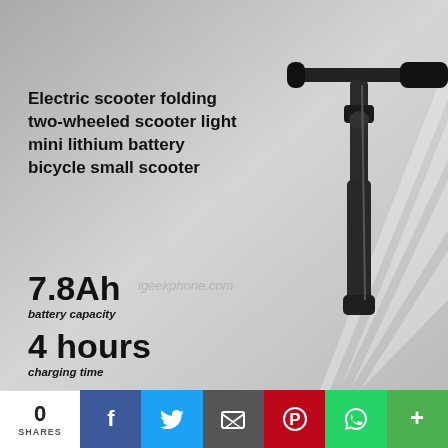[Figure (photo): Electric scooter folding two-wheeled scooter product image on grey background with light rays, showing handlebar and stem. Watermark: igeekphone.com]
Electric scooter folding two-wheeled scooter light mini lithium battery bicycle small scooter
7.8Ah
battery capacity
4 hours
charging time
igeekphone.com
0
SHARES